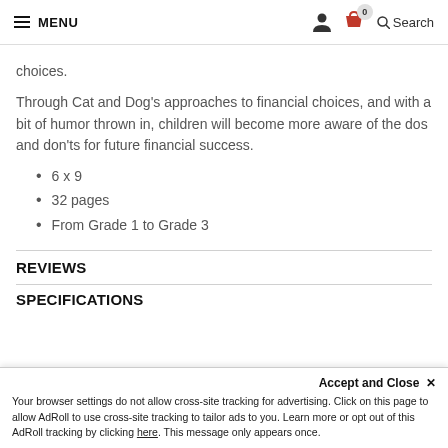MENU | Search
choices.
Through Cat and Dog’s approaches to financial choices, and with a bit of humor thrown in, children will become more aware of the dos and don’ts for future financial success.
6 x 9
32 pages
From Grade 1 to Grade 3
REVIEWS
SPECIFICATIONS
Accept and Close ×
Your browser settings do not allow cross-site tracking for advertising. Click on this page to allow AdRoll to use cross-site tracking to tailor ads to you. Learn more or opt out of this AdRoll tracking by clicking here. This message only appears once.